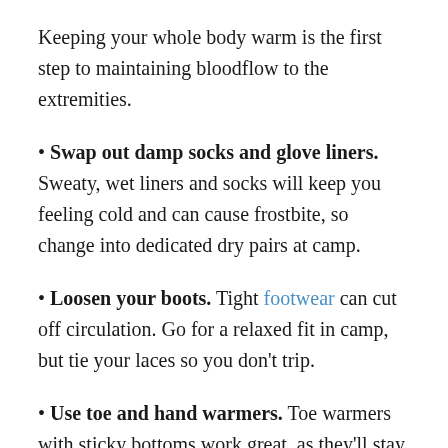Keeping your whole body warm is the first step to maintaining bloodflow to the extremities.
• Swap out damp socks and glove liners. Sweaty, wet liners and socks will keep you feeling cold and can cause frostbite, so change into dedicated dry pairs at camp.
• Loosen your boots. Tight footwear can cut off circulation. Go for a relaxed fit in camp, but tie your laces so you don't trip.
• Use toe and hand warmers. Toe warmers with sticky bottoms work great, as they'll stay in your gloves or footwear. Stick them on top of your hands and toes for maximum effect. Rechargeable heating elements work